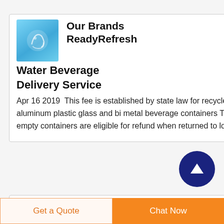[Figure (illustration): Blue water/beverage themed image thumbnail]
Our Brands ReadyRefresh Water Beverage Delivery Service
Apr 16 2019  This fee is established by state law for recycle eligible aluminum plastic glass and bi metal beverage containers These empty containers are eligible for refund when returned to local
[Figure (illustration): Blue water/beverage themed image thumbnail for Amazon KASE]
Amazon KASE
[Figure (other): Dark blue circle with upward arrow icon (scroll to top button)]
Get a Quote
Chat Now